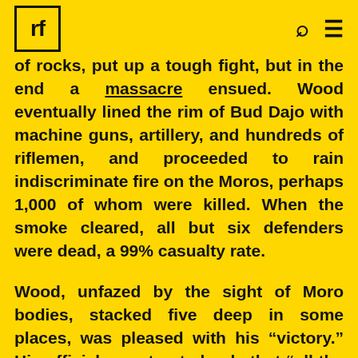rf [logo] [search] [menu]
of rocks, put up a tough fight, but in the end a massacre ensued. Wood eventually lined the rim of Bud Dajo with machine guns, artillery, and hundreds of riflemen, and proceeded to rain indiscriminate fire on the Moros, perhaps 1,000 of whom were killed. When the smoke cleared, all but six defenders were dead, a 99% casualty rate.
Wood, unfazed by the sight of Moro bodies, stacked five deep in some places, was pleased with his “victory.” His official report noted only that “all the defenders were killed.” Some of his troopers proudly posed for a photograph standing above the dead, including hundreds of women and children, as though they were big game trophies from a safari hunt. The infamous